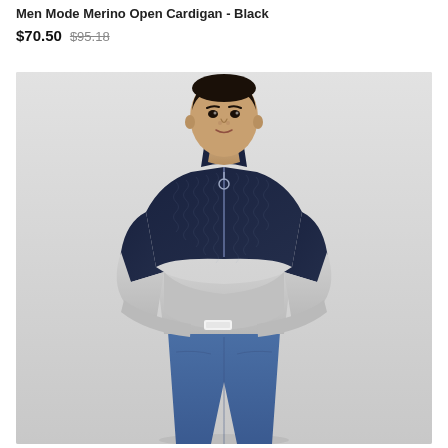Men Mode Merino Open Cardigan - Black
$70.50  $95.18
[Figure (photo): A male model standing with arms crossed, wearing a two-tone half-zip sweater (navy blue textured upper body and light grey lower body) with blue jeans, against a light grey background.]